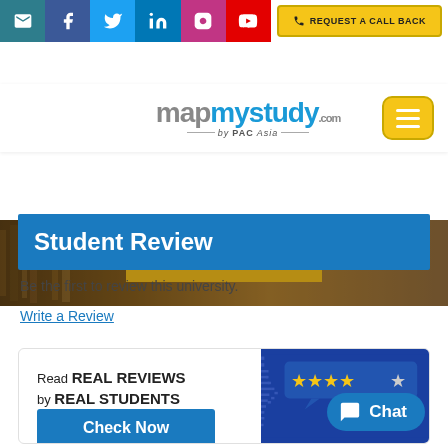[Figure (screenshot): Website top navigation bar with social media icons (email, Facebook, Twitter, LinkedIn, Instagram, YouTube) and a 'Request a Call Back' button]
[Figure (logo): MapMyStudy.com by PAC Asia logo with hamburger menu icon]
[Figure (photo): Library bookshelf background image with a 'WRITE A REVIEW' button overlay]
Student Review
Be the first to review this university.
Write a Review
[Figure (infographic): Promotional banner: 'Read REAL REVIEWS by REAL STUDENTS' with a Check Now button on the left; blue panel with stars rating graphic and Chat button on the right]